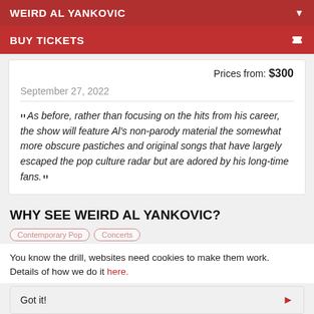WEIRD AL YANKOVIC
BUY TICKETS
Prices from: $300
September 27, 2022
As before, rather than focusing on the hits from his career, the show will feature Al's non-parody material the somewhat more obscure pastiches and original songs that have largely escaped the pop culture radar but are adored by his long-time fans.
WHY SEE WEIRD AL YANKOVIC?
Contemporary Pop
Concerts
You know the drill, websites need cookies to make them work. Details of how we do it here.
Got it!